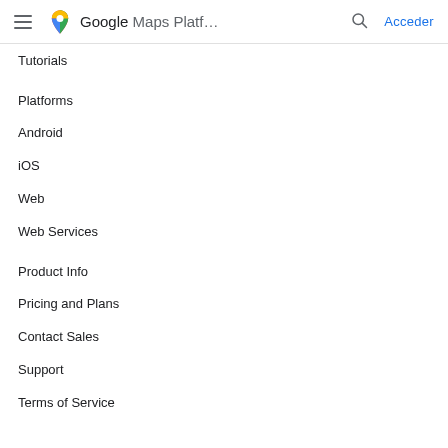Google Maps Platf... Acceder
Tutorials
Platforms
Android
iOS
Web
Web Services
Product Info
Pricing and Plans
Contact Sales
Support
Terms of Service